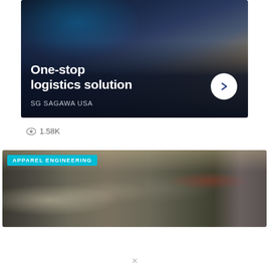[Figure (photo): Advertisement banner for SG SAGAWA USA with dark navy background showing a logistics warehouse with digital overlay graphics. Text reads 'One-stop logistics solution' with a white circular arrow button and 'SG SAGAWA USA' below.]
1.58K
[Figure (photo): Wide photograph of an apparel/garment factory floor showing workers at sewing machines with a teal 'APPAREL ENGINEERING' tag in the upper left corner.]